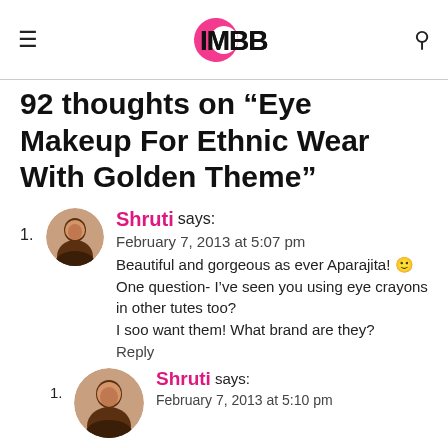IMBB (logo)
92 thoughts on “Eye Makeup For Ethnic Wear With Golden Theme”
1. Shruti says: February 7, 2013 at 5:07 pm
Beautiful and gorgeous as ever Aparajita! 🙂
One question- I’ve seen you using eye crayons in other tutes too?
I soo want them! What brand are they?
Reply
1. Shruti says: February 7, 2013 at 5:10 pm